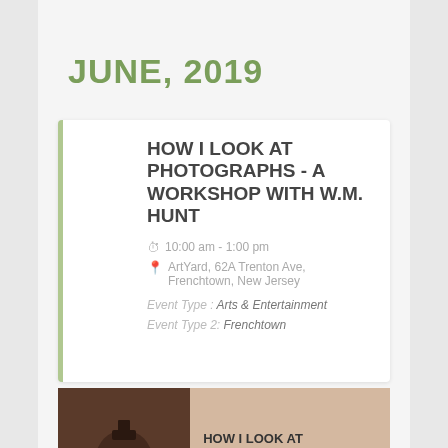JUNE, 2019
SUN 23 JUN
HOW I LOOK AT PHOTOGRAPHS - A WORKSHOP WITH W.M. HUNT
10:00 am - 1:00 pm
ArtYard, 62A Trenton Ave, Frenchtown, New Jersey
Event Type: Arts & Entertainment
Event Type 2: Frenchtown
[Figure (photo): Promotional poster for 'How I Look at Photographs – A Workshop with W.M. Hunt', showing photography equipment on the left and text on a tan/beige background on the right. Details: Sunday, June 23rd, 2019, 10:00 AM – 1:00 PM, Ticket Price: $100, Admission: 15.]